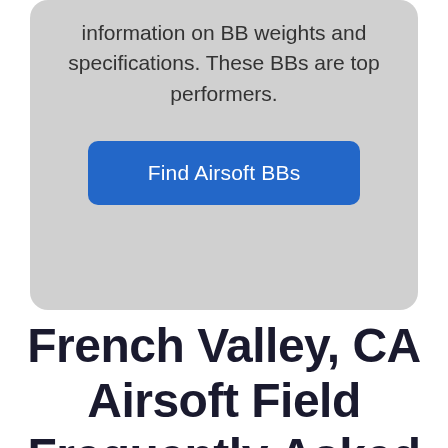information on BB weights and specifications. These BBs are top performers.
Find Airsoft BBs
French Valley, CA Airsoft Field Frequently Asked Questions